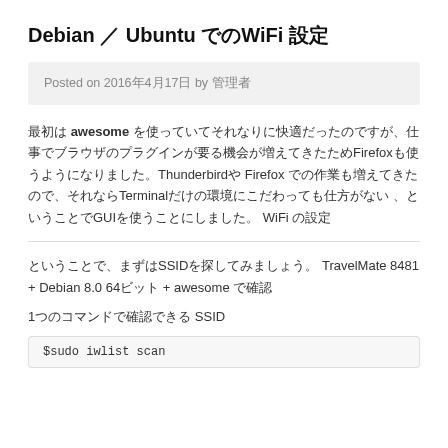Debian ／ Ubuntu での WiFi 設定
Posted on 2016年4月17日 by 管理者
最初は awesome を使っていてそれなりに快適だったのですが、仕事でブラウザのプラグインが要る機会が増えてきたためFirefoxも使うようになりました。Thunderbirdや Firefox での作業も増えてきたので、それならTerminalだけの環境にこだわっても仕方がない 、ということでGUIを使うことにしました。 WiFi の設定
ということで、まずはSSIDを探してみましょう。 TravelMate 8481 + Debian 8.0 64ビット + awesome で確認
1つのコマンドで確認できる SSID
$sudo iwlist scan